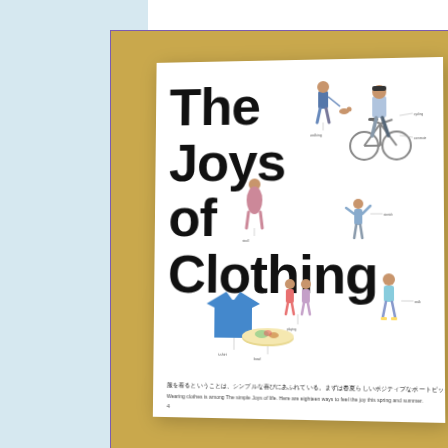[Figure (photo): Magazine titled 'The Joys of Clothing' placed on a golden/mustard yellow background, with a light blue panel on the left. The magazine cover shows the large bold title text and several illustrated/photographed people figures with small caption labels, plus a blue t-shirt and food bowl at the bottom.]
The Joys of Clothing
服を着るということは、シンプルな喜びにあふれている。まずは春夏らしいポジティブなポートピックアルスラッヘ。
Wearing clothes is among The simple Joys of life. Here are eighteen ways to feel the joy this spring and summer.
4